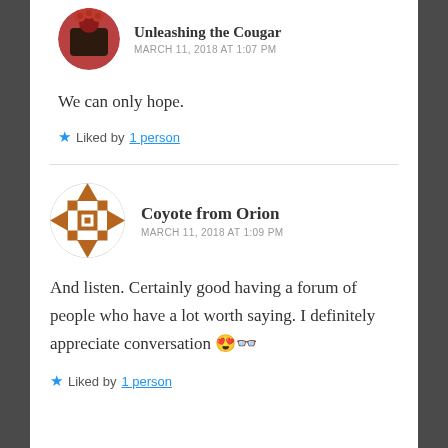Unleashing the Cougar
MARCH 11, 2018 AT 1:07 PM
We can only hope.
Liked by 1 person
Coyote from Orion
MARCH 11, 2018 AT 1:09 PM
And listen. Certainly good having a forum of people who have a lot worth saying. I definitely appreciate conversation 😍👓
Liked by 1 person